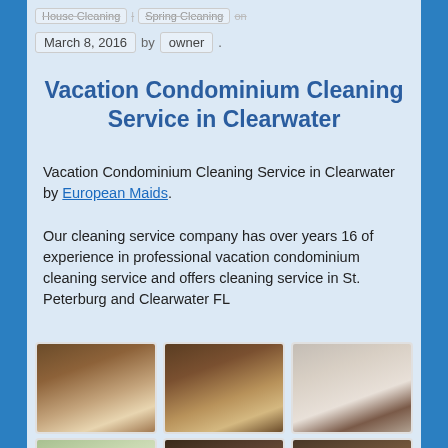House Cleaning | Spring Cleaning on
March 8, 2016 by owner .
Vacation Condominium Cleaning Service in Clearwater
Vacation Condominium Cleaning Service in Clearwater by European Maids.
Our cleaning service company has over years 16 of experience in professional vacation condominium cleaning service and offers cleaning service in St. Peterburg and Clearwater FL
[Figure (photo): Photo of cleaned bathroom with sink and mirror - view 1]
[Figure (photo): Photo of cleaned bathroom with sink and mirror - view 2]
[Figure (photo): Photo of cleaned bedroom with bed and window]
[Figure (photo): Photo of living room with sofa and sliding door]
[Figure (photo): Photo of dining room with table and chairs - dark interior]
[Figure (photo): Photo of dining room with table and chandelier - dark interior]